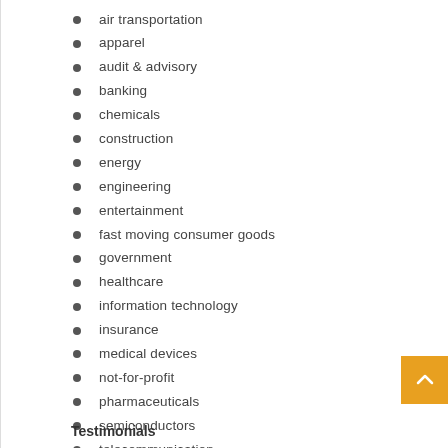air transportation
apparel
audit & advisory
banking
chemicals
construction
energy
engineering
entertainment
fast moving consumer goods
government
healthcare
information technology
insurance
medical devices
not-for-profit
pharmaceuticals
semiconductors
telecommunication
Testimonials